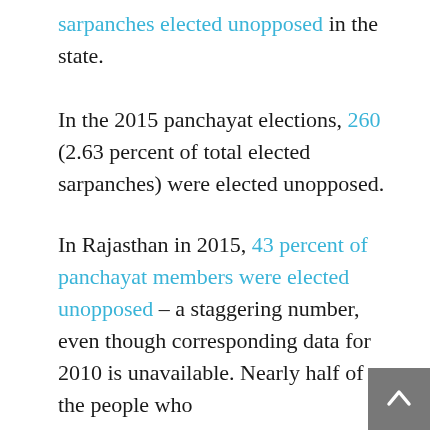sarpanches elected unopposed in the state.
In the 2015 panchayat elections, 260 (2.63 percent of total elected sarpanches) were elected unopposed.
In Rajasthan in 2015, 43 percent of panchayat members were elected unopposed – a staggering number, even though corresponding data for 2010 is unavailable. Nearly half of the people who